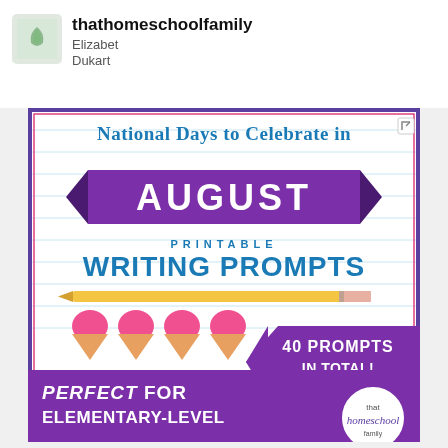thathomeschoolfamily
Elizabet Dukart
[Figure (infographic): National Days to Celebrate in August - Printable Writing Prompts. 40 prompts in total. Perfect for elementary-level writing. Features purple banner, ice cream cone illustrations, pencil graphic, and 'that homeschool' logo. Purple arrow pointing left with '40 PROMPTS IN TOTAL!' text.]